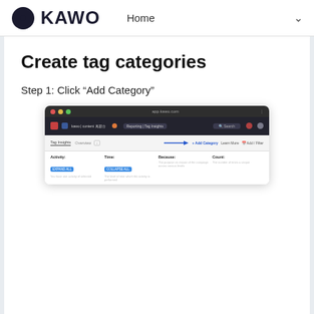KAWO  Home
Create tag categories
Step 1: Click “Add Category”
[Figure (screenshot): Screenshot of the KAWO application interface showing the Tag Insights / Overview page with columns for Activity, Time, Because, and Count. A blue arrow points to the '+ Add Category' button in the top right of the content area.]